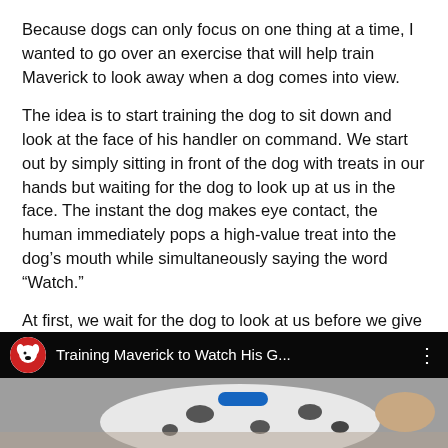Because dogs can only focus on one thing at a time, I wanted to go over an exercise that will help train Maverick to look away when a dog comes into view.
The idea is to start training the dog to sit down and look at the face of his handler on command. We start out by simply sitting in front of the dog with treats in our hands but waiting for the dog to look up at us in the face. The instant the dog makes eye contact, the human immediately pops a high-value treat into the dog's mouth while simultaneously saying the word “Watch.”
At first, we wait for the dog to look at us before we give it the treat, but as the training continues, the dog will start responding to the command word of “watch” as well.
[Figure (screenshot): YouTube video thumbnail showing a Dalmatian dog lying down with a dark overlay bar at the top displaying a red and white logo icon and the title 'Training Maverick to Watch His G...' with a three-dot menu icon]